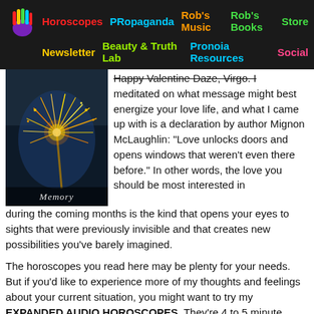Horoscopes | PRopaganda | Rob's Music | Rob's Books | Store | Newsletter | Beauty & Truth Lab | Pronoia Resources | Social
[Figure (photo): Photo of sparks from a sparkler or welding in a dark blue setting with caption 'Memory']
Happy Valentine Daze, Virgo. I meditated on what message might best energize your love life, and what I came up with is a declaration by author Mignon McLaughlin: "Love unlocks doors and opens windows that weren't even there before." In other words, the love you should be most interested in during the coming months is the kind that opens your eyes to sights that were previously invisible and that creates new possibilities you've barely imagined.
The horoscopes you read here may be plenty for your needs. But if you'd like to experience more of my thoughts and feelings about your current situation, you might want to try my EXPANDED AUDIO HOROSCOPES. They're 4 to 5 minute meditations on the state of your life and where you're going.